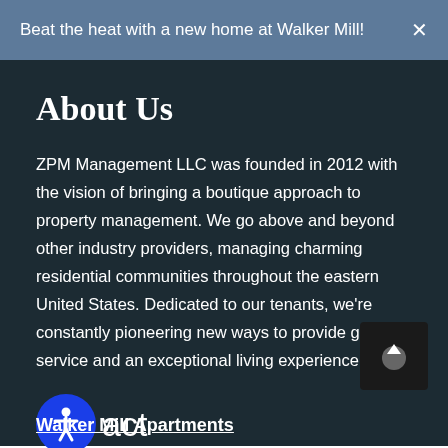Beat the heat with a new home at Walker Mill!
About Us
ZPM Management LLC was founded in 2012 with the vision of bringing a boutique approach to property management. We go above and beyond other industry providers, managing charming residential communities throughout the eastern United States. Dedicated to our tenants, we're constantly pioneering new ways to provide great service and an exceptional living experience.
Contact
Walker Mill Apartments